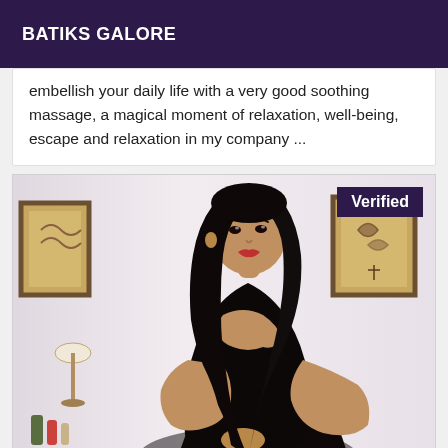BATIKS GALORE
embellish your daily life with a very good soothing massage, a magical moment of relaxation, well-being, escape and relaxation in my company ...
[Figure (photo): Photo of a woman with long black hair wearing a black outfit, standing in a room with framed artwork on the wall and a lamp visible. A 'Verified' badge appears in the top right corner of the image.]